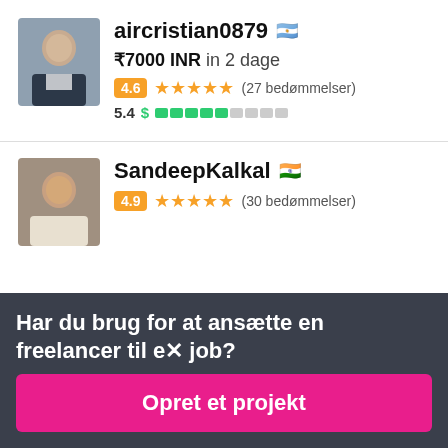[Figure (photo): Profile photo of aircristian0879 — man in formal suit]
aircristian0879 🇦🇷
₹7000 INR in 2 dage
4.6 ★★★★★ (27 bedømmelser)
5.4 $ ████░░░░░
[Figure (photo): Profile photo of SandeepKalkal — man in white shirt]
SandeepKalkal 🇮🇳
4.9 ★★★★★ (30 bedømmelser)
Har du brug for at ansætte en freelancer til et job?
Opret et projekt